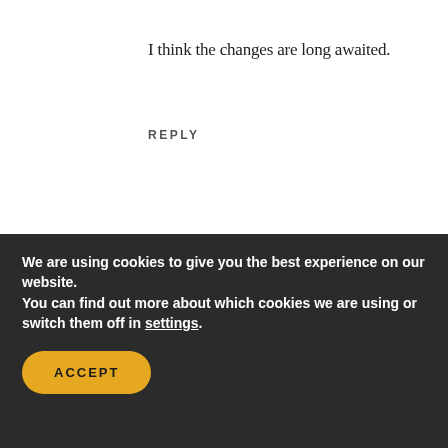I think the changes are long awaited.
REPLY
K. J. MELLOW   June 22, 2022 at 4:08 pm
I'm wondering who has the closer relationship between a spouse and a child?
We are using cookies to give you the best experience on our website.
You can find out more about which cookies we are using or switch them off in settings.
ACCEPT